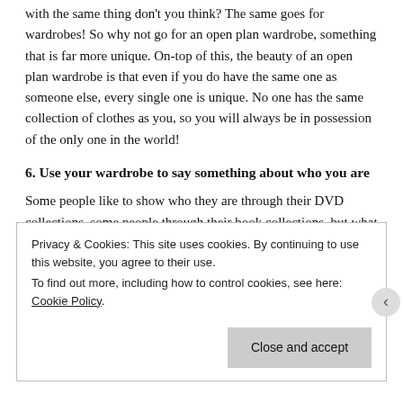with the same thing don't you think? The same goes for wardrobes! So why not go for an open plan wardrobe, something that is far more unique. On-top of this, the beauty of an open plan wardrobe is that even if you do have the same one as someone else, every single one is unique. No one has the same collection of clothes as you, so you will always be in possession of the only one in the world!
6. Use your wardrobe to say something about who you are
Some people like to show who they are through their DVD collections, some people through their book collections, but what about the people who don't own 101 books or DVDs? Well, everyone owns a range of clothes, so why not let them do the talking instead!
Privacy & Cookies: This site uses cookies. By continuing to use this website, you agree to their use.
To find out more, including how to control cookies, see here: Cookie Policy
[Close and accept]